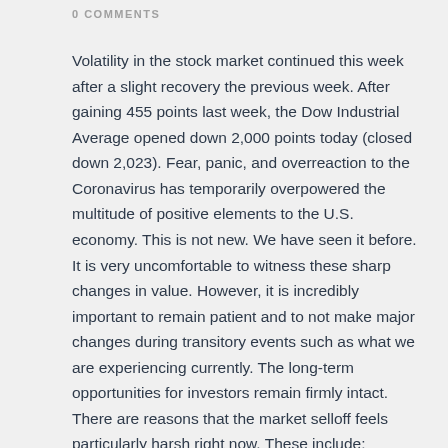0 COMMENTS
Volatility in the stock market continued this week after a slight recovery the previous week.  After gaining 455 points last week, the Dow Industrial Average opened down 2,000 points today (closed down 2,023).  Fear, panic, and overreaction to the Coronavirus has temporarily overpowered the multitude of positive elements to the U.S. economy.  This is not new.  We have seen it before.  It is very uncomfortable to witness these sharp changes in value.  However, it is incredibly important to remain patient and to not make major changes during transitory events such as what we are experiencing currently.  The long-term opportunities for investors remain firmly intact.  There are reasons that the market selloff feels particularly harsh right now.  These include: